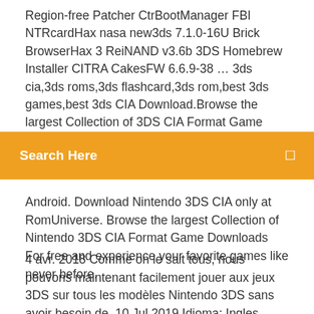Region-free Patcher CtrBootManager FBI NTRcardHax nasa new3ds 7.1.0-16U Brick BrowserHax 3 ReiNAND v3.6b 3DS Homebrew Installer CITRA CakesFW 6.6.9-38 ... 3ds cia,3ds roms,3ds flashcard,3ds rom,best 3ds games,best 3ds CIA Download.Browse the largest Collection of 3DS CIA Format Game Downloads For free. 3ds cia,3ds roms,3ds flashcard,3ds
[Figure (other): Orange search bar with text 'Search Here' and a small icon on the right]
Android. Download Nintendo 3DS CIA only at RomUniverse. Browse the largest Collection of Nintendo 3DS CIA Format Game Downloads For free and experience your favorite games like never before.
4 avr. 2018 Comme on le sait tous, nous pouvons maintenant facilement jouer aux jeux 3DS sur tous les modèles Nintendo 3DS sans avoir besoin de  10 Jul 2019 Idioma: Ingles Formato: .CIA Peso: 581 MB (7z) Region: USA y EUR (REGION FREE). USA MEGA EUR MEGA. Actualizado el 29/09/2019. Os